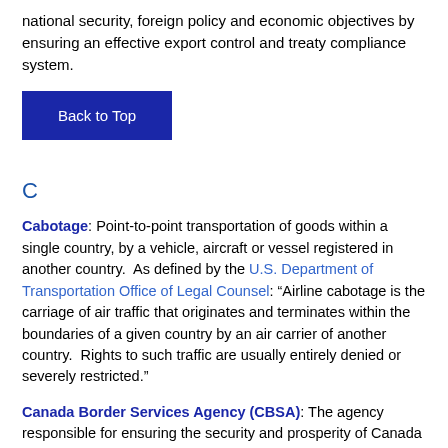national security, foreign policy and economic objectives by ensuring an effective export control and treaty compliance system.
Back to Top
C
Cabotage: Point-to-point transportation of goods within a single country, by a vehicle, aircraft or vessel registered in another country. As defined by the U.S. Department of Transportation Office of Legal Counsel: “Airline cabotage is the carriage of air traffic that originates and terminates within the boundaries of a given country by an air carrier of another country. Rights to such traffic are usually entirely denied or severely restricted.”
Canada Border Services Agency (CBSA): The agency responsible for ensuring the security and prosperity of Canada